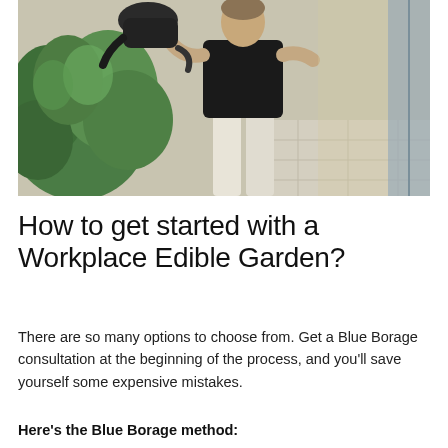[Figure (photo): A person wearing a black top and light-colored trousers holding a dark watering can over lush green garden plants on a sunny day, standing on a tiled outdoor surface near a glass door or window.]
How to get started with a Workplace Edible Garden?
There are so many options to choose from. Get a Blue Borage consultation at the beginning of the process, and you'll save yourself some expensive mistakes.
Here's the Blue Borage method: